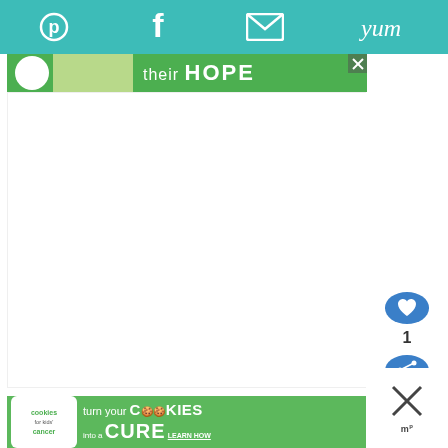[Figure (screenshot): Teal top navigation bar with Pinterest, Facebook, email, and Yummly social sharing icons in white]
[Figure (screenshot): Green banner showing partial image of hands holding food with text 'their HOPE']
[Figure (screenshot): Large white blank content area (main article body, mostly empty/loading)]
[Figure (screenshot): Right side panel with blue circular heart/like button showing count of 1, and blue circular share button]
[Figure (screenshot): Bottom advertisement banner: Cookies for Kids Cancer - turn your COOKIES into a CURE LEARN HOW, with close X button and Mediavine logo on right]